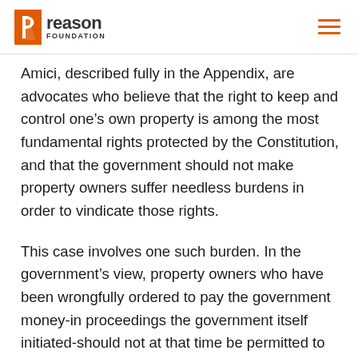Reason Foundation
Amici, described fully in the Appendix, are advocates who believe that the right to keep and control one’s own property is among the most fundamental rights protected by the Constitution, and that the government should not make property owners suffer needless burdens in order to vindicate those rights.
This case involves one such burden. In the government’s view, property owners who have been wrongfully ordered to pay the government money-in proceedings the government itself initiated-should not at that time be permitted to